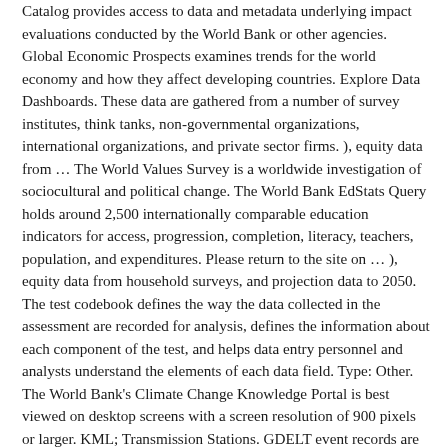Catalog provides access to data and metadata underlying impact evaluations conducted by the World Bank or other agencies. Global Economic Prospects examines trends for the world economy and how they affect developing countries. Explore Data Dashboards. These data are gathered from a number of survey institutes, think tanks, non-governmental organizations, international organizations, and private sector firms. ), equity data from … The World Values Survey is a worldwide investigation of sociocultural and political change. The World Bank EdStats Query holds around 2,500 internationally comparable education indicators for access, progression, completion, literacy, teachers, population, and expenditures. Please return to the site on … ), equity data from household surveys, and projection data to 2050. The test codebook defines the way the data collected in the assessment are recorded for analysis, defines the information about each component of the test, and helps data entry personnel and analysts understand the elements of each data field. Type: Other. The World Bank's Climate Change Knowledge Portal is best viewed on desktop screens with a screen resolution of 900 pixels or larger. KML; Transmission Stations. GDELT event records are stored in an expanded version of the dyadic CAMEO format, capturing two actors and the action performed by Actor1 upon Actor2. Provides access to basic information on all of the World Bank's lending projects from 1947 to the present. Yesterday the World Bank unveiled an interactive mapping tool that allows users